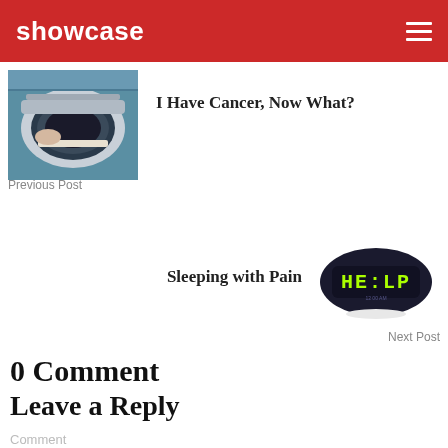showcase
[Figure (photo): MRI machine with patient being scanned, medical imaging room]
I Have Cancer, Now What?
Previous Post
[Figure (photo): Digital alarm clock displaying 'HE:LP' in green LED digits on a dark oval body]
Sleeping with Pain
Next Post
0 Comment
Leave a Reply
Comment